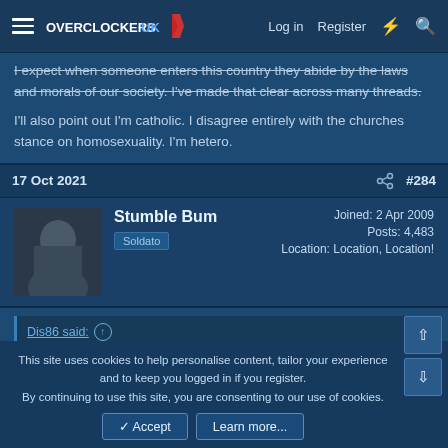Overclockers UK — Log in | Register
I expect when someone enters this country they abide by the laws and morals of our society. I've made that clear across many threads.

I'll also point out I'm catholic. I disagree entirely with the churches stance on homosexuality. I'm hetero.
17 Oct 2021  #284
Stumble Bum
Soldato
Joined: 2 Apr 2009
Posts: 4,483
Location: Location, Location!
Dis86 said: ↑
Ah yes, another constructive post. Enlighten me as to how this is adding anything?
This site uses cookies to help personalise content, tailor your experience and to keep you logged in if you register.
By continuing to use this site, you are consenting to our use of cookies.
Accept  Learn more...